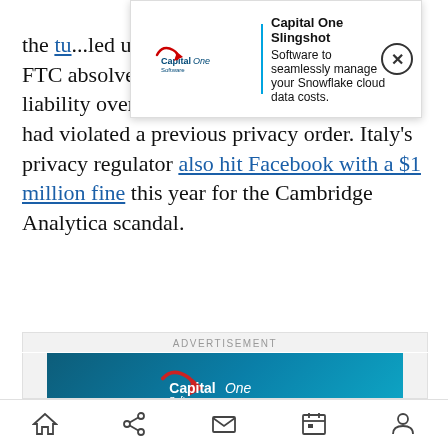the tu...led user p...y. As part of the deal, the FTC absolved Facebook executives from liability over allegations that the company had violated a previous privacy order. Italy's privacy regulator also hit Facebook with a $1 million fine this year for the Cambridge Analytica scandal.
[Figure (screenshot): Capital One Software ad banner overlay at top of page: logo on left, divider line, text 'Capital One Slingshot - Software to seamlessly manage your Snowflake cloud data costs.', close button (X)]
ADVERTISEMENT
[Figure (screenshot): Capital One Software advertisement creative: dark teal background, Capital One Software logo, large white text 'Capital One Slingshot', teal underline, partial text 'Software to seamlessly manage']
[Figure (screenshot): Mobile browser bottom navigation bar with icons: home, share, mail, calendar, profile]